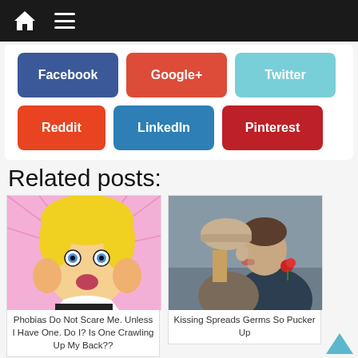[Figure (screenshot): Mobile website navigation bar with home icon and hamburger menu on dark background]
[Figure (infographic): Social media sharing buttons: Facebook (blue), Google+ (red), Twitter (light blue), Reddit (orange-red), LinkedIn (blue), Pinterest (dark red)]
Related posts:
[Figure (photo): Comic-style illustration of a blonde girl looking scared/shocked with pink background]
Phobias Do Not Scare Me. Unless I Have One. Do I? Is One Crawling Up My Back??
[Figure (photo): Photo of a couple kissing outdoors, man wearing suit with red rose]
Kissing Spreads Germs So Pucker Up